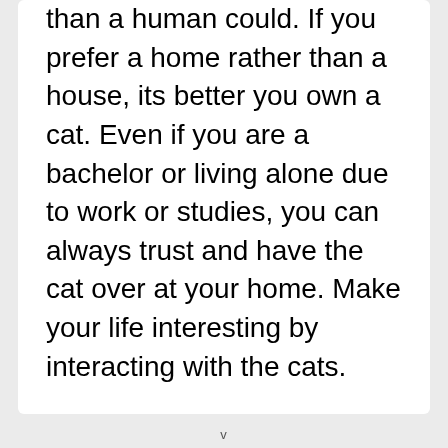than a human could. If you prefer a home rather than a house, its better you own a cat. Even if you are a bachelor or living alone due to work or studies, you can always trust and have the cat over at your home. Make your life interesting by interacting with the cats.
v